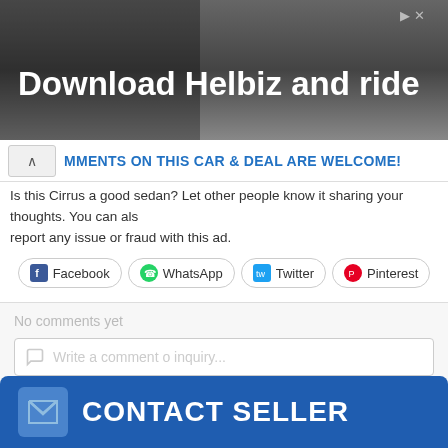[Figure (screenshot): Advertisement banner for Helbiz scooter app showing 'Download Helbiz and ride' text over a dark photo background]
MMENTS ON THIS CAR & DEAL ARE WELCOME!
Is this Cirrus a good sedan? Let other people know it sharing your thoughts. You can also report any issue or fraud with this ad.
Facebook
WhatsApp
Twitter
Pinterest
No comments yet
Write a comment o inquiry...
[Figure (screenshot): CONTACT SELLER button in blue with envelope icon]
[Figure (logo): AL SERRA dealership logo in blue and white]